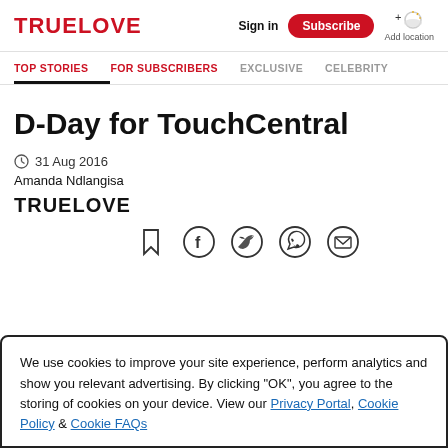TRUELOVE | Sign in | Subscribe | Add location
TOP STORIES | FOR SUBSCRIBERS | EXCLUSIVE | CELEBRITY
D-Day for TouchCentral
31 Aug 2016
Amanda Ndlangisa
TRUELOVE
[Figure (infographic): Social share icons: bookmark, Facebook, Twitter, WhatsApp, email]
We use cookies to improve your site experience, perform analytics and show you relevant advertising. By clicking "OK", you agree to the storing of cookies on your device. View our Privacy Portal, Cookie Policy & Cookie FAQs